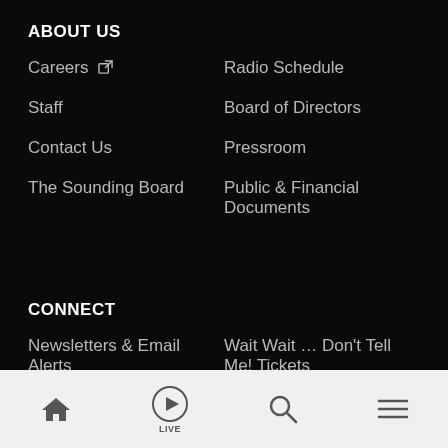ABOUT US
Careers ↗
Radio Schedule
Staff
Board of Directors
Contact Us
Pressroom
The Sounding Board
Public & Financial Documents
CONNECT
Newsletters & Email Alerts
Wait Wait … Don't Tell Me! Tickets
Volunteer ↗
Mobile Apps
[Figure (infographic): Bottom navigation bar with home, live play, search, and menu icons]